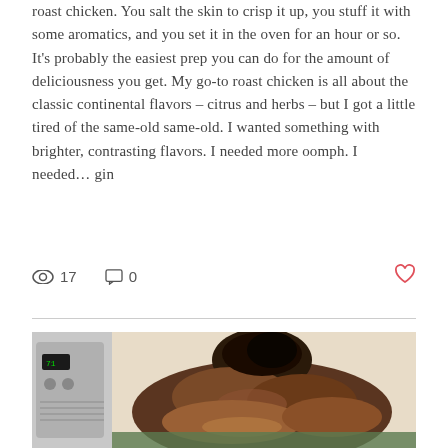roast chicken. You salt the skin to crisp it up, you stuff it with some aromatics, and you set it in the oven for an hour or so. It's probably the easiest prep you can do for the amount of deliciousness you get. My go-to roast chicken is all about the classic continental flavors – citrus and herbs – but I got a little tired of the same-old same-old. I wanted something with brighter, contrasting flavors. I needed more oomph. I needed… gin
17   0   ♡
[Figure (photo): A whole roast chicken with dark, crispy skin on a surface, with a kitchen appliance visible in the background]